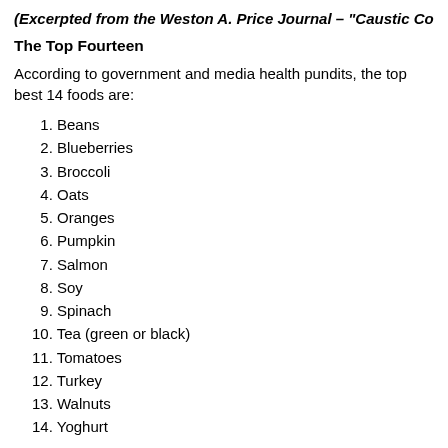(Excerpted from the Weston A. Price Journal – "Caustic Commentary", Fa
The Top Fourteen
According to government and media health pundits, the top best 14 foods are:
1. Beans
2. Blueberries
3. Broccoli
4. Oats
5. Oranges
6. Pumpkin
7. Salmon
8. Soy
9. Spinach
10. Tea (green or black)
11. Tomatoes
12. Turkey
13. Walnuts
14. Yoghurt
This uninspiring list reflects the current establishment angels (anti-oxidants and fatty acids) and demons (saturated fats and animal foods).
Our list of the 14 best top foods, foods that supply vital nutrients including the fa vitamins, looks like this: